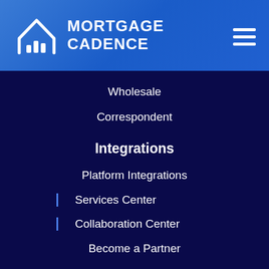[Figure (logo): Mortgage Cadence logo with house icon and bar chart bars, white on blue gradient header, with hamburger menu icon on the right]
Wholesale
Correspondent
Integrations
Platform Integrations
Services Center
Collaboration Center
Become a Partner
Company
About Us
Our Leaders